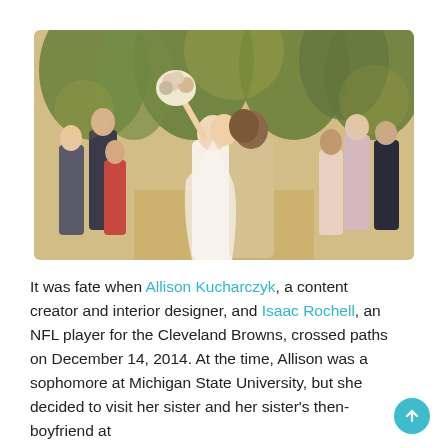[Figure (photo): Wedding photo of a couple kissing at the altar outdoors. The bride in a white dress holds a bouquet raised high in one hand while the groom in a beige/tan suit embraces her. Guests and wedding party stand on both sides applauding in a lush outdoor setting with palm trees in the background.]
It was fate when Allison Kucharczyk, a content creator and interior designer, and Isaac Rochell, an NFL player for the Cleveland Browns, crossed paths on December 14, 2014. At the time, Allison was a sophomore at Michigan State University, but she decided to visit her sister and her sister's then-boyfriend at